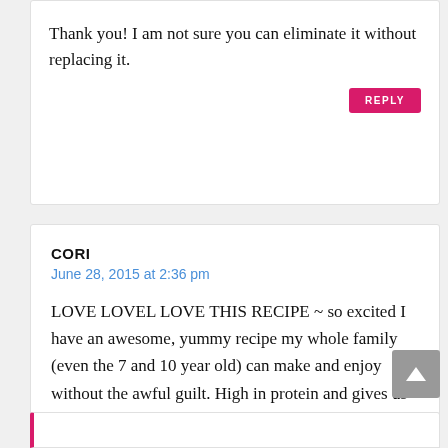Thank you! I am not sure you can eliminate it without replacing it.
REPLY
CORI
June 28, 2015 at 2:36 pm
LOVE LOVEL LOVE THIS RECIPE ~ so excited I have an awesome, yummy recipe my whole family (even the 7 and 10 year old) can make and enjoy without the awful guilt. High in protein and gives us energy instead of needing a nap after we eat them!
REPLY